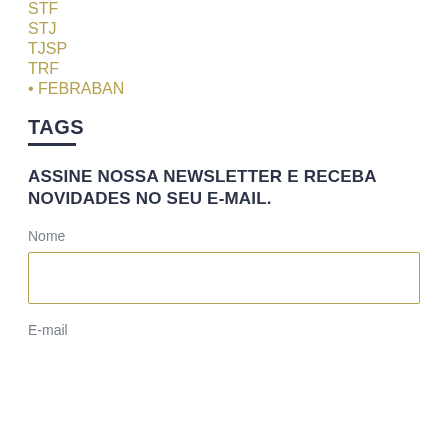STF
STJ
TJSP
TRF
• FEBRABAN
TAGS
ASSINE NOSSA NEWSLETTER E RECEBA NOVIDADES NO SEU E-MAIL.
Nome
E-mail